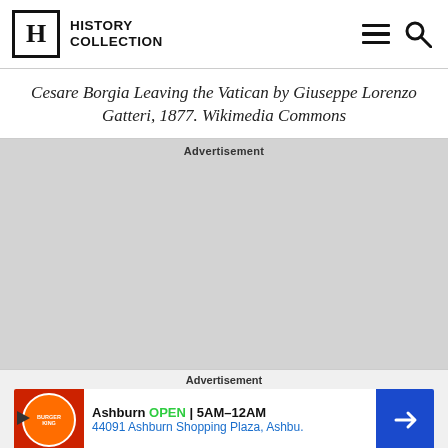History Collection
Cesare Borgia Leaving the Vatican by Giuseppe Lorenzo Gatteri, 1877. Wikimedia Commons
[Figure (other): Advertisement placeholder — large gray block area]
[Figure (other): Advertisement banner: Burger King — Ashburn OPEN 5AM-12AM, 44091 Ashburn Shopping Plaza, Ashbu.]